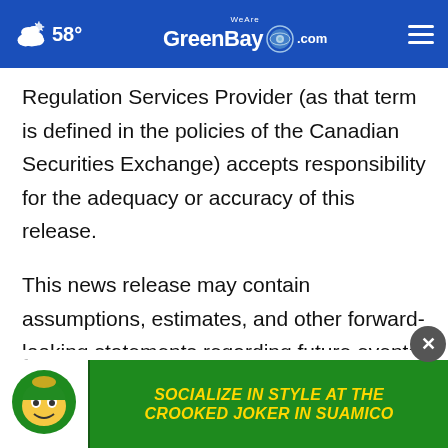58° WeAreGreenBay.com
Regulation Services Provider (as that term is defined in the policies of the Canadian Securities Exchange) accepts responsibility for the adequacy or accuracy of this release.
This news release may contain assumptions, estimates, and other forward-looking statements regarding future events. Such forward-looking statements involve inherent risks and uncertainties and are subject to factors...Company...
[Figure (screenshot): Advertisement banner: SOCIALIZE IN STYLE AT THE CROOKED JOKER IN SUAMICO with Crooked Joker logo on green background]